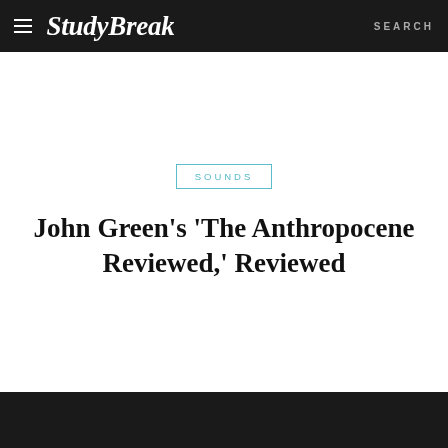StudyBreaks — SEARCH
SOUNDS
John Green's 'The Anthropocene Reviewed,' Reviewed